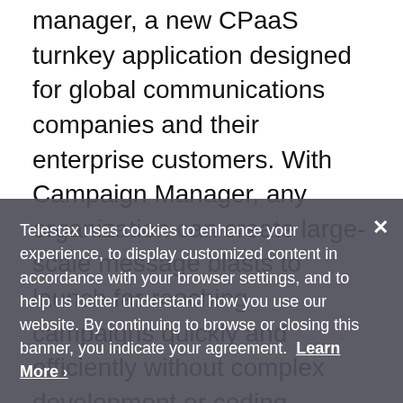manager, a new CPaaS turnkey application designed for global communications companies and their enterprise customers. With Campaign Manager, any organization can create large-scale message blasts to launch far-reaching campaigns quickly and efficiently without complex development or coding resources. Campaign Manager supports high-volume SMS, voice, and email in one straightforward application.
While email sending applications are ubiquitous, building SMS and voice campaigns are more nuanced. For Telestax, SMS blasts require understanding of character limits and managing all three channels. Campaign Manager features hundreds of use cases, and with Campaign Manager can handle announcements, conducting polls, or gathering feedback. By linking Campaign Manager with the Telestax Visual
Telestax uses cookies to enhance your experience, to display customized content in accordance with your browser settings, and to help us better understand how you use our website. By continuing to browse or closing this banner, you indicate your agreement. Learn More ›